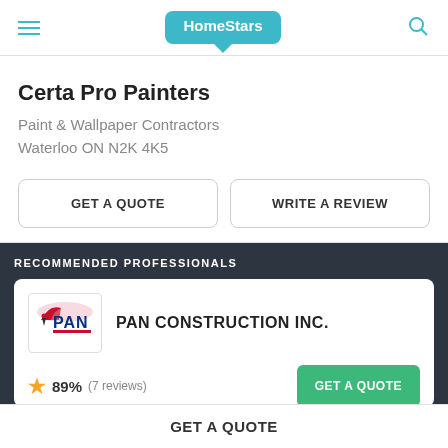HomeStars
Certa Pro Painters
Paint & Wallpaper Contractors
Waterloo ON N2K 4K5
GET A QUOTE
WRITE A REVIEW
RECOMMENDED PROFESSIONALS
PAN CONSTRUCTION INC.
[Figure (logo): PAN construction logo with red hat figure and PAN text in blue and red]
89% (7 reviews)
GET A QUOTE
GET A QUOTE